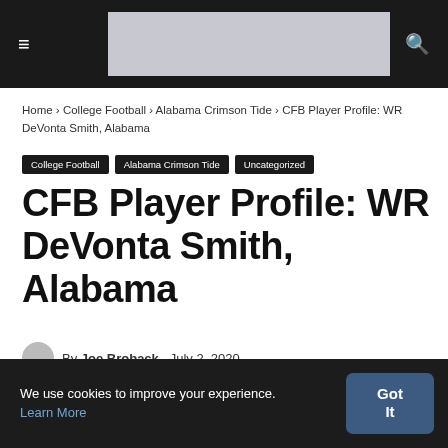≡ [nav header with hamburger menu and search icon]
Home › College Football › Alabama Crimson Tide › CFB Player Profile: WR DeVonta Smith, Alabama
College Football
Alabama Crimson Tide
Uncategorized
CFB Player Profile: WR DeVonta Smith, Alabama
By Joe Broback   July 2, 2020
We use cookies to improve your experience. Learn More
Got It